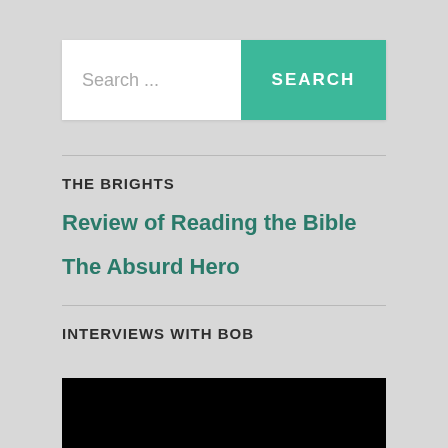Search ...
SEARCH
THE BRIGHTS
Review of Reading the Bible
The Absurd Hero
INTERVIEWS WITH BOB
[Figure (photo): Black image area at bottom of page]